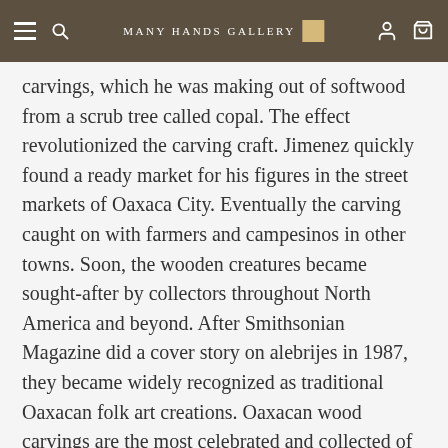Many Hands Gallery
carvings, which he was making out of softwood from a scrub tree called copal. The effect revolutionized the carving craft. Jimenez quickly found a ready market for his figures in the street markets of Oaxaca City. Eventually the carving caught on with farmers and campesinos in other towns. Soon, the wooden creatures became sought-after by collectors throughout North America and beyond. After Smithsonian Magazine did a cover story on alebrijes in 1987, they became widely recognized as traditional Oaxacan folk art creations. Oaxacan wood carvings are the most celebrated and collected of all Mexican Folk Art.